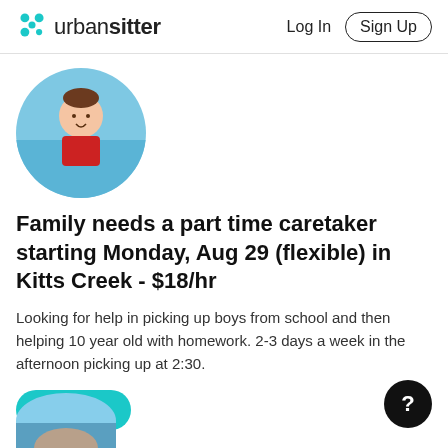urbansitter | Log In | Sign Up
[Figure (photo): Circular profile photo of a child wearing a red shirt standing near water/beach]
Family needs a part time caretaker starting Monday, Aug 29 (flexible) in Kitts Creek - $18/hr
Looking for help in picking up boys from school and then helping 10 year old with homework. 2-3 days a week in the afternoon picking up at 2:30.
Apply
[Figure (photo): Partial circular profile photo of a second listing partially visible at the bottom of the page]